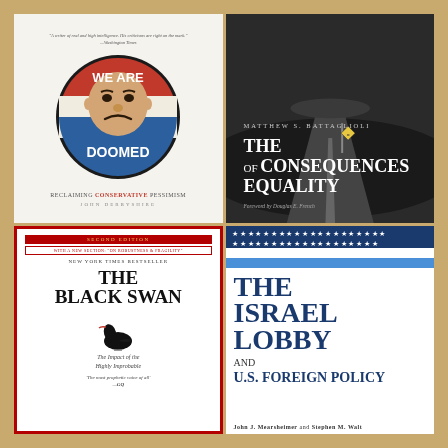[Figure (photo): Book cover: 'We Are Doomed - Reclaiming Conservative Pessimism' by John Derbyshire. White background with circular button-style illustration of a frowning man's face in red, white, and blue.]
[Figure (photo): Book cover: 'The Consequences of Equality' by Matthew S. Battaglioli. Dark cover with road vanishing into horizon and equality road sign. Foreword by Douglas E. French.]
[Figure (photo): Book cover: 'The Black Swan - The Impact of the Highly Improbable' by Nassim Nicholas Taleb. Second edition. White cover with red border and black swan illustration.]
[Figure (photo): Book cover: 'The Israel Lobby and U.S. Foreign Policy' by John J. Mearsheimer and Stephen M. Walt. White cover with American flag stripe design at top and large dark blue bold title text.]